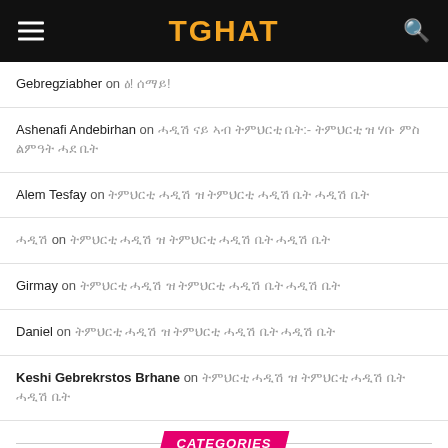TGHAT
Gebregziabher on ዕ! ሰማይ!
Ashenafi Andebirhan on ሓዲሽ ናይ ኣብ ትምህርቲ ቤት:- ትምህርቲ ዝ ሃቡ ምስ ልምዓት ሓደ ቤት
Alem Tesfay on ትምህርቲ ሓዲሽ ዝ ትምህርቲ ሓዲሽ ቤት ሓዲሽ ቤት
ሓዲሽ on ትምህርቲ ሓዲሽ ዝ ትምህርቲ ሓዲሽ ቤት ሓዲሽ ቤት
Girmay on ትምህርቲ ሓዲሽ ዝ ትምህርቲ ሓዲሽ ቤት ሓዲሽ ቤት
Daniel on ትምህርቲ ሓዲሽ ዝ ትምህርቲ ሓዲሽ ቤት ሓዲሽ ቤት
Keshi Gebrekrstos Brhane on ትምህርቲ ሓዲሽ ዝ ትምህርቲ ሓዲሽ ቤት ሓዲሽ ቤት
CATEGORIES
SELECT CATEGORY